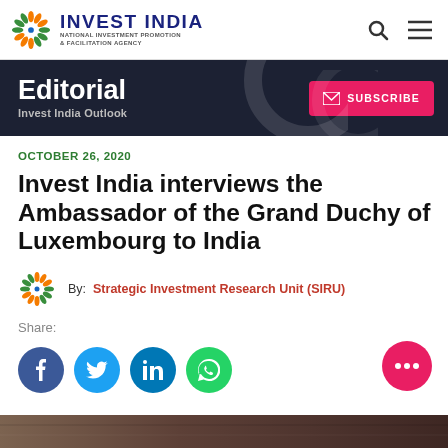INVEST INDIA | NATIONAL INVESTMENT PROMOTION & FACILITATION AGENCY
Editorial | Invest India Outlook
OCTOBER 26, 2020
Invest India interviews the Ambassador of the Grand Duchy of Luxembourg to India
By: Strategic Investment Research Unit (SIRU)
Share:
[Figure (screenshot): Bottom partial image strip, appears to be a photograph]